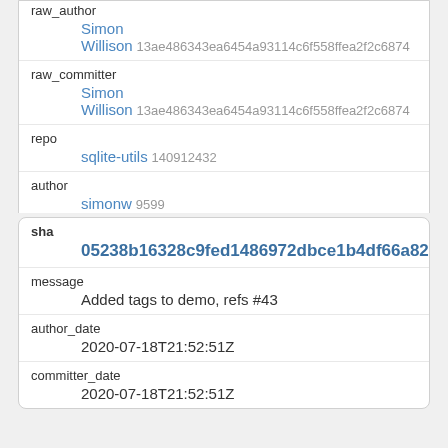raw_author
Simon
Willison 13ae486343ea6454a93114c6f558ffea2f2c6874
raw_committer
Simon
Willison 13ae486343ea6454a93114c6f558ffea2f2c6874
repo
sqlite-utils 140912432
author
simonw 9599
committer
simonw 9599
sha
05238b16328c9fed1486972dbce1b4df66a82f1b
message
Added tags to demo, refs #43
author_date
2020-07-18T21:52:51Z
committer_date
2020-07-18T21:52:51Z